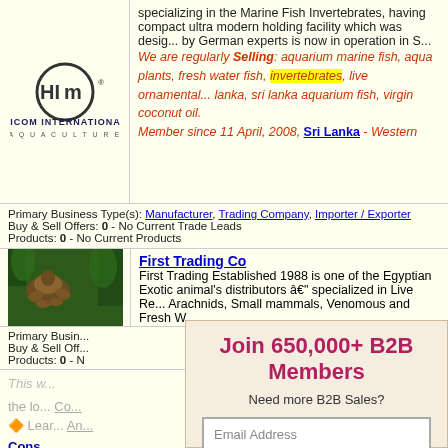[Figure (logo): HICOM International Aqua Culture logo with circular icon]
specializing in the Marine Fish Invertebrates, having compact ultra modern holding facility which was designed by German experts is now in operation in S...
We are regularly Selling: aquarium marine fish, aqua plants, fresh water fish, invertebrates, live ornamentals lanka, sri lanka aquarium fish, virgin coconut oil.
Member since 11 April, 2008, Sri Lanka - Western
Primary Business Type(s): Manufacturer, Trading Company, Importer / Exporter
Buy & Sell Offers: 0 - No Current Trade Leads
Products: 0 - No Current Products
First Trading Co
First Trading Established 1988 is one of the Egyptian Exotic animal's distributors â€" specialized in Live Re... Arachnids, Small mammals, Venomous and Fresh W...
[Figure (photo): Photo of an exotic animal (appears to be a reptile or turtle) against green foliage background]
Primary Busin...
Buy & Sell Off...
Products: 0 - N
Join 650,000+ B2B Members
Need more B2B Sales?
Email Address
Get More B2B Sales